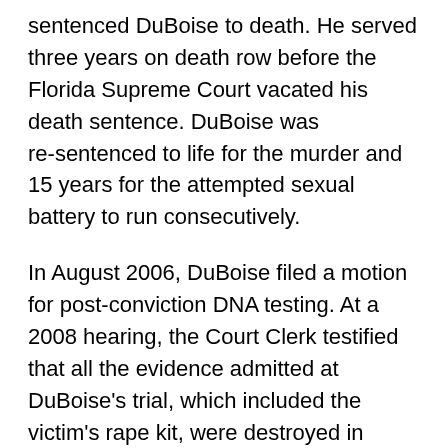sentenced DuBoise to death. He served three years on death row before the Florida Supreme Court vacated his death sentence. DuBoise was re-sentenced to life for the murder and 15 years for the attempted sexual battery to run consecutively.
In August 2006, DuBoise filed a motion for post-conviction DNA testing. At a 2008 hearing, the Court Clerk testified that all the evidence admitted at DuBoise's trial, which included the victim's rape kit, were destroyed in 1990, just five years after his conviction. The judge denied DuBoise's request to test the other biological evidence, finding that because the State's theory was that DuBoise committed this crime with others, excluding him from the evidence would not be sufficient to prove his innocence.
The lawyers on DuBoise's case then...